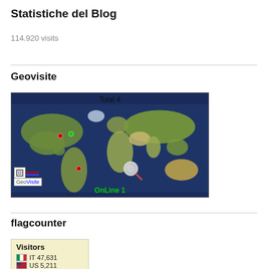Statistiche del Blog
114.920 visits
Geovisite
[Figure (map): World map widget from GeoVisite showing visitor locations. Total 4 visitors marked on the map. OnLine 1. GeoVisite logo shown in bottom-left corner.]
flagcounter
[Figure (screenshot): Flag counter widget showing Visitors: IT (Italy flag) 47,631 and US (US flag) 5,211 (partially visible)]